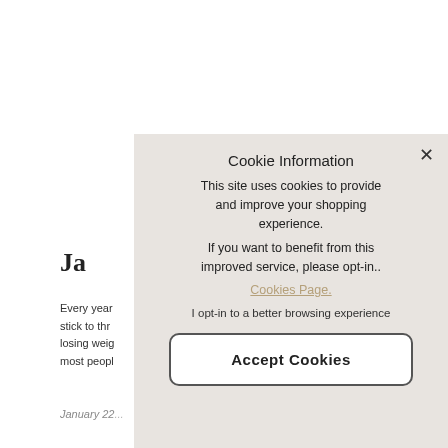Ja
Every year... stick to thr... losing weig... most peopl...
January 22...
Cookie Information
This site uses cookies to provide and improve your shopping experience.
If you want to benefit from this improved service, please opt-in..
Cookies Page.
I opt-in to a better browsing experience
Accept Cookies